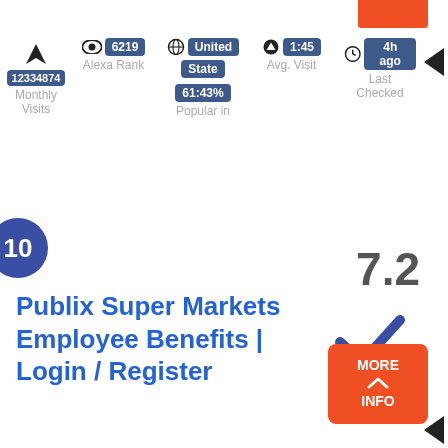[Figure (infographic): Web stats bar showing: navigation arrow icon, eye icon with badge 6219 (Alexa Rank), globe icon with badges United / State (Popular in 61:43%), up arrow icon with badge 1:45 (Avg. Visit), clock icon with badge 4h ago (Last Checked), badge 12334874 (Monthly Visits)]
10
7.2
Publix Super Markets Employee Benefits | Login / Register
[Figure (infographic): Blue checkmark icon]
[Figure (infographic): Orange MORE INFO button with up caret]